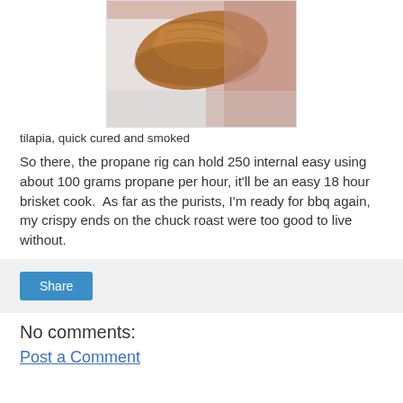[Figure (photo): Close-up photo of tilapia fish that has been quick cured and smoked, showing golden-brown skin against a light/pinkish background]
tilapia, quick cured and smoked
So there, the propane rig can hold 250 internal easy using about 100 grams propane per hour, it'll be an easy 18 hour brisket cook.  As far as the purists, I'm ready for bbq again, my crispy ends on the chuck roast were too good to live without.
[Figure (screenshot): Share button widget on a light gray background]
No comments:
Post a Comment